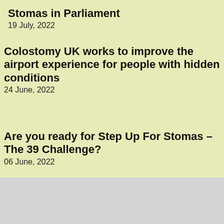Stomas in Parliament
19 July, 2022
Colostomy UK works to improve the airport experience for people with hidden conditions
24 June, 2022
Are you ready for Step Up For Stomas – The 39 Challenge?
06 June, 2022